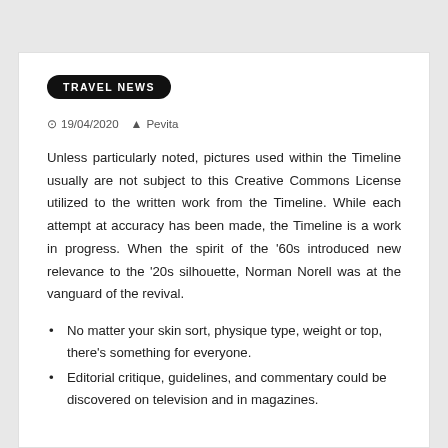TRAVEL NEWS
19/04/2020  Pevita
Unless particularly noted, pictures used within the Timeline usually are not subject to this Creative Commons License utilized to the written work from the Timeline. While each attempt at accuracy has been made, the Timeline is a work in progress. When the spirit of the '60s introduced new relevance to the '20s silhouette, Norman Norell was at the vanguard of the revival.
No matter your skin sort, physique type, weight or top, there's something for everyone.
Editorial critique, guidelines, and commentary could be discovered on television and in magazines.